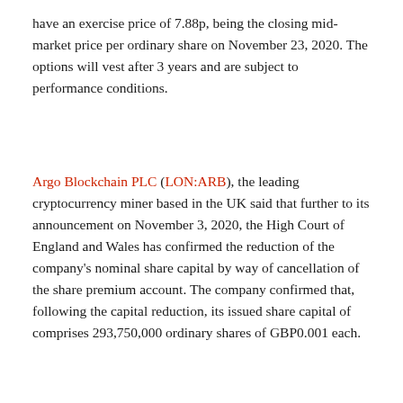have an exercise price of 7.88p, being the closing mid-market price per ordinary share on November 23, 2020. The options will vest after 3 years and are subject to performance conditions.
Argo Blockchain PLC (LON:ARB), the leading cryptocurrency miner based in the UK said that further to its announcement on November 3, 2020, the High Court of England and Wales has confirmed the reduction of the company's nominal share capital by way of cancellation of the share premium account. The company confirmed that, following the capital reduction, its issued share capital of comprises 293,750,000 ordinary shares of GBP0.001 each.